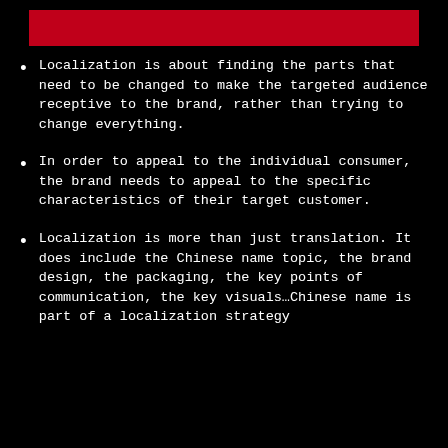[Figure (other): Red horizontal bar at top of slide]
Localization is about finding the parts that need to be changed to make the targeted audience receptive to the brand, rather than trying to change everything.
In order to appeal to the individual consumer, the brand needs to appeal to the specific characteristics of their target customer.
Localization is more than just translation. It does include the Chinese name topic, the brand design, the packaging, the key points of communication, the key visuals…Chinese name is part of a localization strategy